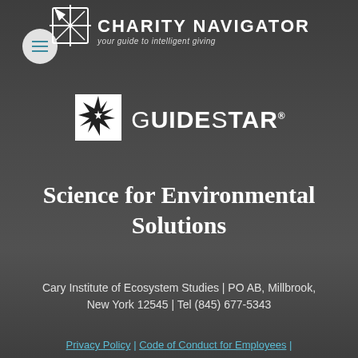[Figure (logo): Charity Navigator logo with star/compass icon and tagline 'your guide to intelligent giving']
[Figure (logo): GuideStar logo with starburst icon]
Science for Environmental Solutions
Cary Institute of Ecosystem Studies | PO AB, Millbrook, New York 12545 | Tel (845) 677-5343
Privacy Policy | Code of Conduct for Employees |